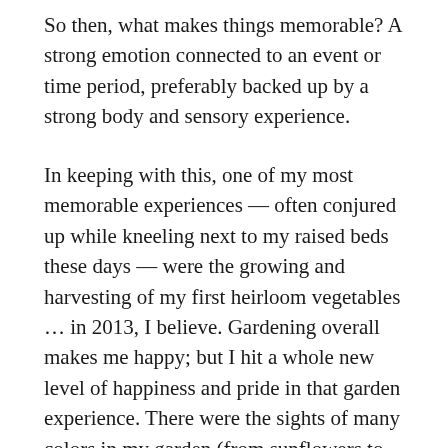So then, what makes things memorable? A strong emotion connected to an event or time period, preferably backed up by a strong body and sensory experience.
In keeping with this, one of my most memorable experiences — often conjured up while kneeling next to my raised beds these days — were the growing and harvesting of my first heirloom vegetables … in 2013, I believe. Gardening overall makes me happy; but I hit a whole new level of happiness and pride in that garden experience. There were the sights of many colors in my garden (from sunflowers to cabbage to tomatoes). Then there were the